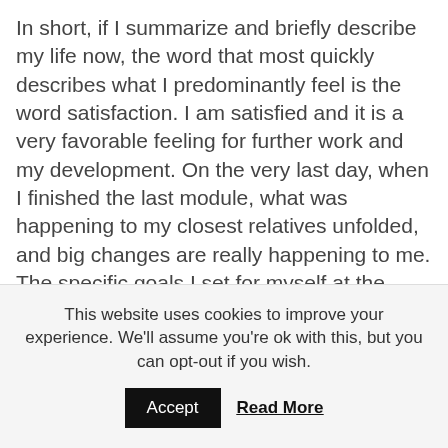In short, if I summarize and briefly describe my life now, the word that most quickly describes what I predominantly feel is the word satisfaction. I am satisfied and it is a very favorable feeling for further work and my development. On the very last day, when I finished the last module, what was happening to my closest relatives unfolded, and big changes are really happening to me. The specific goals I set for myself at the beginning are not realizing yet, but the
This website uses cookies to improve your experience. We'll assume you're ok with this, but you can opt-out if you wish. Accept Read More